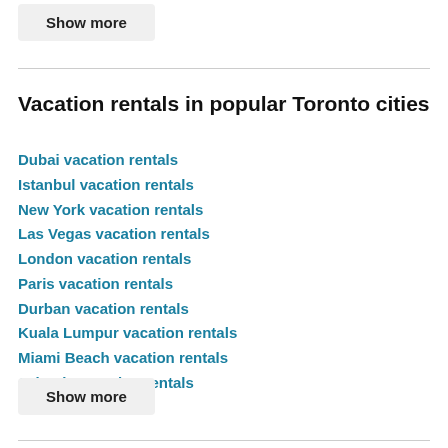Show more
Vacation rentals in popular Toronto cities
Dubai vacation rentals
Istanbul vacation rentals
New York vacation rentals
Las Vegas vacation rentals
London vacation rentals
Paris vacation rentals
Durban vacation rentals
Kuala Lumpur vacation rentals
Miami Beach vacation rentals
Orlando vacation rentals
Show more